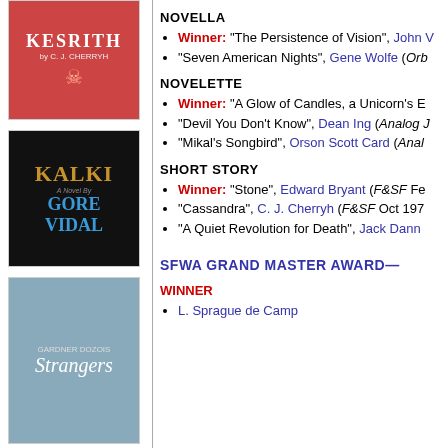[Figure (photo): Book cover: Kesrith by C.J. Cherryh, red/fantasy style]
[Figure (photo): Book cover: Kalki by Gore Vidal, black background with gold title]
[Figure (photo): Book cover: Strangers by Gardner Dozois, fantasy illustration]
Novella
Winner: “The Persistence of Vision”, John V
“Seven American Nights”, Gene Wolfe (Orb
Novelette
Winner: “A Glow of Candles, a Unicorn’s E
“Devil You Don’t Know”, Dean Ing (Analog J
“Mikal’s Songbird”, Orson Scott Card (Anal
Short Story
Winner: “Stone”, Edward Bryant (F&SF Fe
“Cassandra”, C. J. Cherryh (F&SF Oct 197
“A Quiet Revolution for Death”, Jack Dann
SFWA Grand Master Award—
Winner
L. Sprague de Camp